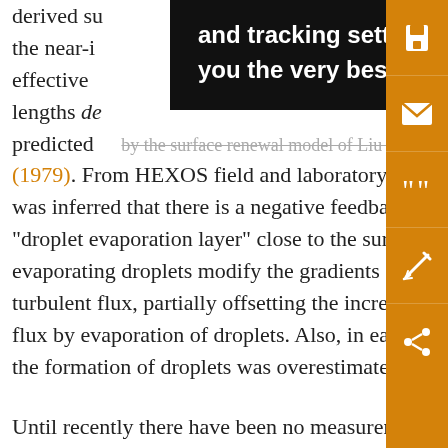derived su[rface renewal model] ell as the near-i[nfrared] he effective [w] ness lengths de[termined] predicted [by the surface renewal model of Liu et al.] (1979). From HEXOS field and laboratory experiments was inferred that there is a negative feedback: in a "droplet evaporation layer" close to the surface, the evaporating droplets modify the gradients and reduce the turbulent flux, partially offsetting the increased latent heat flux by evaporation of droplets. Also, in earlier studies, the formation of droplets was overestimated. Until recently there have been no measurements of evaporation at very low wind speeds. Bradley et al. (1991), from eddy correlation measurements of sensible and latent heat fluxes during a cruise in the tropical